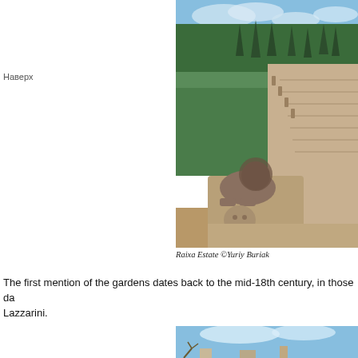Наверх
[Figure (photo): Raixa Estate garden with grand stone staircase flanked by statues, lush green hedges and trees, lion sculpture in foreground]
Raixa Estate ©Yuriy Buriak
The first mention of the gardens dates back to the mid-18th century, in those da Lazzarini.
[Figure (photo): Partial view of a building against a blue sky with clouds]